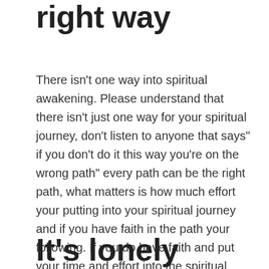right way
There isn't one way into spiritual awakening. Please understand that there isn't just one way for your spiritual journey, don't listen to anyone that says" if you don't do it this way you're on the wrong path" every path can be the right path, what matters is how much effort your putting into your spiritual journey and if you have faith in the path your following. If you do have faith and put your time and effort into the spiritual journey you will find openings and you will start to understand the truth of the spiritual journey that you're on.
It's lonely